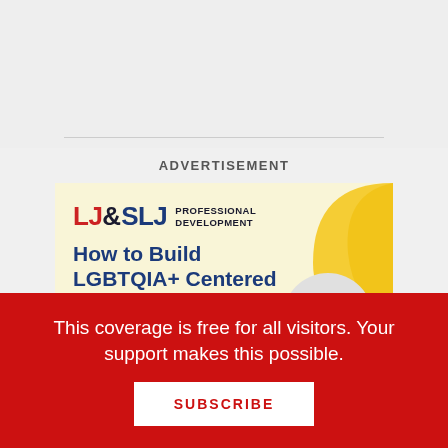[Figure (illustration): Top gray background section with a horizontal divider line]
ADVERTISEMENT
[Figure (infographic): LJ&SLJ Professional Development advertisement banner with yellow cream background and decorative yellow swirl. Title: How to Build LGBTQIA+ Centered Spaces, Programs, and Services. Subtitle: Online Workshop and [courses]. Features colorful diversity figures icon.]
This coverage is free for all visitors. Your support makes this possible.
SUBSCRIBE